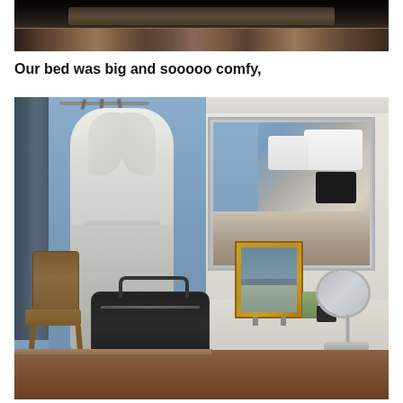[Figure (photo): Close-up photo of a bed with dark decorative headboard and patterned bedding, showing the top portion of the bed in dim lighting]
Our bed was big and sooooo comfy,
[Figure (photo): Hotel/B&B room interior showing a white bathrobe hanging on a door hook, a wooden chair, a black travel bag on the floor, and a vanity area with a large mirror reflecting the bed, a framed picture, and a magnifying mirror on a stand. Blue-grey walls visible.]